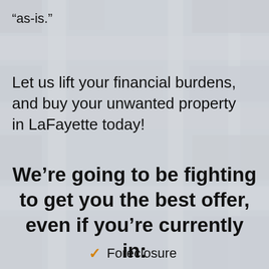“as-is.”
Let us lift your financial burdens, and buy your unwanted property in LaFayette today!
We’re going to be fighting to get you the best offer, even if you’re currently in:
Foreclosure